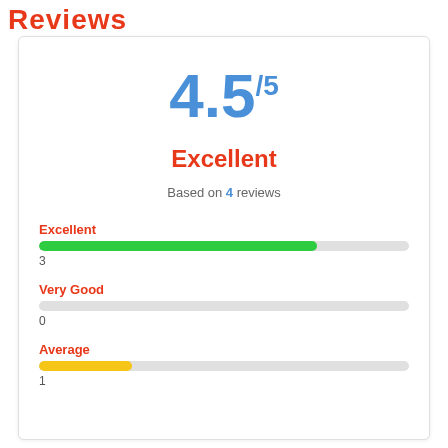Reviews
4.5/5
Excellent
Based on 4 reviews
[Figure (bar-chart): Review rating breakdown]